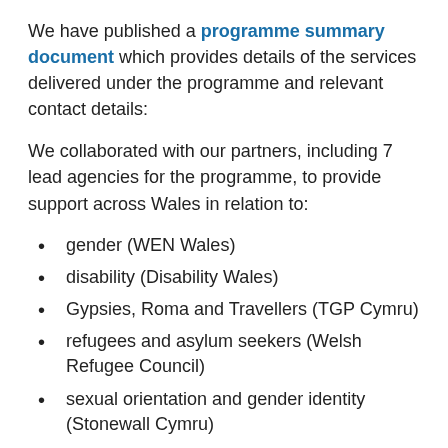We have published a programme summary document which provides details of the services delivered under the programme and relevant contact details:
We collaborated with our partners, including 7 lead agencies for the programme, to provide support across Wales in relation to:
gender (WEN Wales)
disability (Disability Wales)
Gypsies, Roma and Travellers (TGP Cymru)
refugees and asylum seekers (Welsh Refugee Council)
sexual orientation and gender identity (Stonewall Cymru)
race (EYST)
hate crime (Victim Support Cymru)